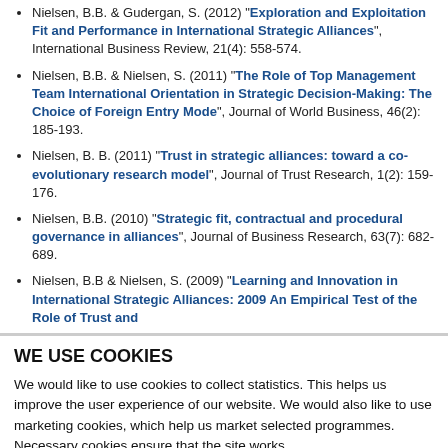Nielsen, B.B. & Gudergan, S. (2012) "Exploration and Exploitation Fit and Performance in International Strategic Alliances", International Business Review, 21(4): 558-574.
Nielsen, B.B. & Nielsen, S. (2011) "The Role of Top Management Team International Orientation in Strategic Decision-Making: The Choice of Foreign Entry Mode", Journal of World Business, 46(2): 185-193.
Nielsen, B. B. (2011) "Trust in strategic alliances: toward a co-evolutionary research model", Journal of Trust Research, 1(2): 159-176.
Nielsen, B.B. (2010) "Strategic fit, contractual and procedural governance in alliances", Journal of Business Research, 63(7): 682-689.
Nielsen, B.B & Nielsen, S. (2009) "Learning and Innovation in International Strategic Alliances: 2009 An Empirical Test of the Role of Trust and
WE USE COOKIES
We would like to use cookies to collect statistics. This helps us improve the user experience of our website. We would also like to use marketing cookies, which help us market selected programmes. Necessary cookies ensure that the site works.
Allow selection   Allow all cookies
Necessary  Preferences  Statistics  Marketing  Show details